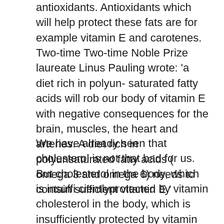antioxidants. Antioxidants which will help protect these fats are for example vitamin E and carotenes. Two-time Two-time Noble Prize laureate Linus Pauling wrote: 'a diet rich in polyunsaturated fatty acids will rob our body of vitamin E with negative consequences for the brain, muscles, the heart and arteries. A diet rich in polyunsaturated fatty acids ( omega 3 and omega 6) needs to contain sufficient vitamin E.'
We have already seen that cholesterol is not that bad for us. But cholesterol in the body, which is insufficiently protected by vitamin cholesterol in the body, which is insufficiently protected by vitamin E, carotenoids and other protective substances, will start to oxidize. Oxidized LDL cholesterol will damage the blood vessels as a free radi- cal and will contribute heavily to atherosclerosis. Foam cells will be formed, which will allow cholesterol to settle. Oil...